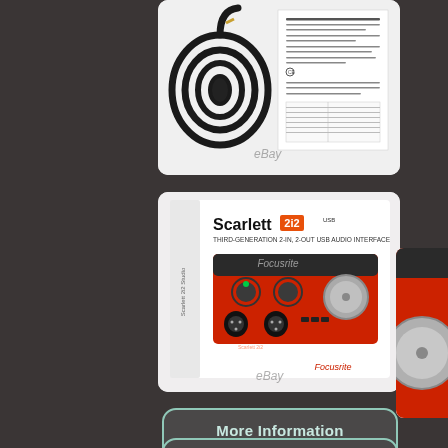[Figure (photo): Product photo showing a black coiled cable and a printed instruction/specification sheet on white background with eBay watermark]
[Figure (photo): Focusrite Scarlett 2i2 third-generation 2-in, 2-out USB audio interface product box showing the red device and Focusrite branding, with eBay watermark]
[Figure (photo): Partial right-side view of a red Focusrite Scarlett device showing a large knob]
More Information
ebay
View Price